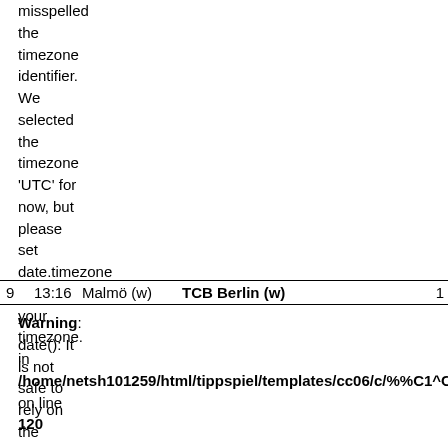misspelled the timezone identifier. We selected the timezone 'UTC' for now, but please set date.timezone to select your timezone. in /home/netsh101259/html/tippspiel/templates/cc06/c/%%C1^C1F^C1FAC8 on line 120
| 9 | 13:16 | Malmö (w) | TCB Berlin (w) | 1 |
| --- | --- | --- | --- | --- |
Warning: date(): It is not safe to rely on the system's timezone settings.